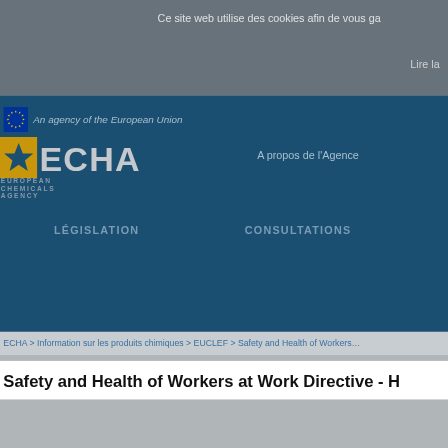Ce site web utilise des cookies afin de vous ga…
Lire la…
[Figure (logo): EU stars flag icon and 'An agency of the European Union' text]
[Figure (logo): ECHA European Chemicals Agency logo with gold star icon, grey ECHA text, and 'EUROPEAN CHEMICALS AGENCY' subtitle]
A propos de l'Agence
LÉGISLATION
CONSULTATIONS
ECHA > Information sur les produits chimiques > EUCLEF > Safety and Health of Workers…
Safety and Health of Workers at Work Directive - H…